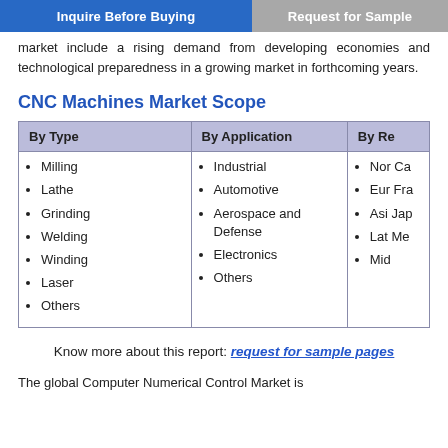Inquire Before Buying | Request for Sample
market include a rising demand from developing economies and technological preparedness in a growing market in forthcoming years.
CNC Machines Market Scope
| By Type | By Application | By Re... |
| --- | --- | --- |
| Milling
Lathe
Grinding
Welding
Winding
Laser
Others | Industrial
Automotive
Aerospace and Defense
Electronics
Others | Nor... Ca...
Eur... Fra...
Asi... Jap...
Lat... Me...
Mid... |
Know more about this report: request for sample pages
The global Computer Numerical Control Market is